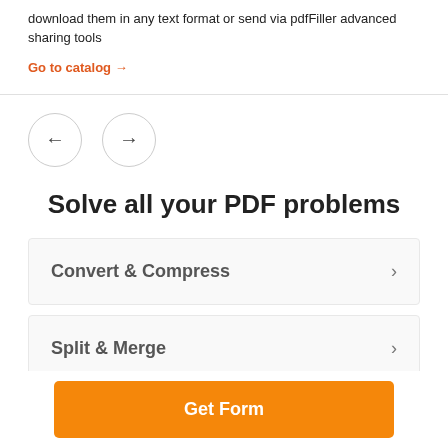download them in any text format or send via pdfFiller advanced sharing tools
Go to catalog →
[Figure (other): Two circular navigation buttons with left arrow and right arrow]
Solve all your PDF problems
Convert & Compress
Split & Merge
Get Form